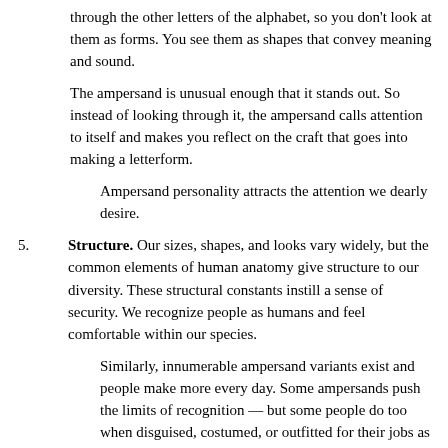through the other letters of the alphabet, so you don't look at them as forms. You see them as shapes that convey meaning and sound.
The ampersand is unusual enough that it stands out. So instead of looking through it, the ampersand calls attention to itself and makes you reflect on the craft that goes into making a letterform.
Ampersand personality attracts the attention we dearly desire.
5. Structure. Our sizes, shapes, and looks vary widely, but the common elements of human anatomy give structure to our diversity. These structural constants instill a sense of security. We recognize people as humans and feel comfortable within our species.
Similarly, innumerable ampersand variants exist and people make more every day. Some ampersands push the limits of recognition — but some people do too when disguised, costumed, or outfitted for their jobs as are astronauts and deep water divers.